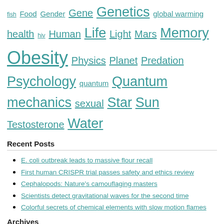fish Food Gender Gene Genetics global warming health hiv Human Life Light Mars Memory Obesity Physics Planet Predation Psychology quantum Quantum mechanics sexual Star Sun Testosterone Water
Recent Posts
E. coli outbreak leads to massive flour recall
First human CRISPR trial passes safety and ethics review
Cephalopods: Nature's camouflaging masters
Scientists detect gravitational waves for the second time
Colorful secrets of chemical elements with slow motion flames
Archives
Archives  Select Month